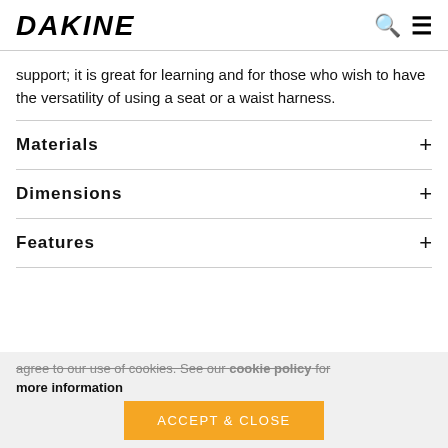DAKINE
support; it is great for learning and for those who wish to have the versatility of using a seat or a waist harness.
Materials
Dimensions
Features
agree to our use of cookies. See our cookie policy for more information
ACCEPT & CLOSE